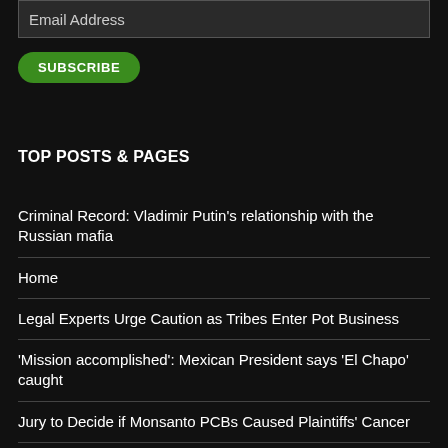Email Address
SUBSCRIBE
TOP POSTS & PAGES
Criminal Record: Vladimir Putin's relationship with the Russian mafia
Home
Legal Experts Urge Caution as Tribes Enter Pot Business
'Mission accomplished': Mexican President says 'El Chapo' caught
Jury to Decide if Monsanto PCBs Caused Plaintiffs' Cancer
Ad fraud could become the second biggest organized crime enterprise behind the drug trade
Have You Or A Loved One Been Attacked Or Bitten By A Dog?